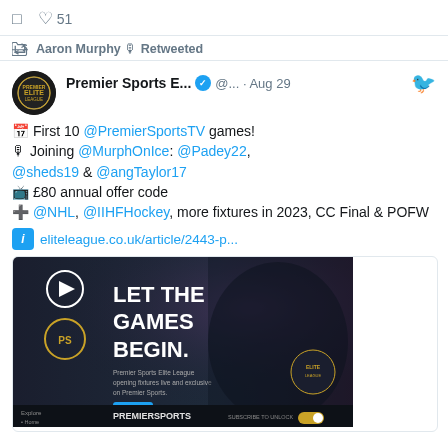[Figure (screenshot): Twitter/social media screenshot showing a retweet by Aaron Murphy of a Premier Sports Elite tweet from Aug 29, with tweet text about first 10 @PremierSportsTV games, joining @MurphOnIce mentions, £80 annual offer code, @NHL/@IIHFHockey fixtures, CC Final & POFW, with a link to eliteleague.co.uk/article/2443-p… and an attached promotional image saying 'LET THE GAMES BEGIN.' for Premier Sports Elite League]